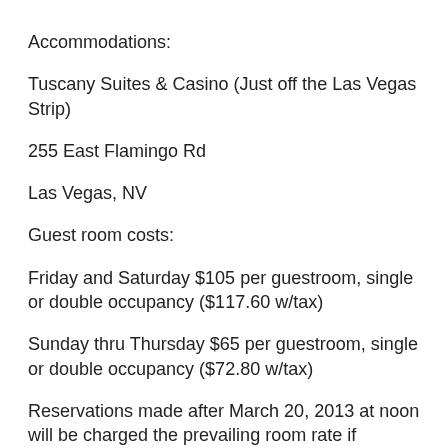Accommodations:
Tuscany Suites & Casino (Just off the Las Vegas Strip)
255 East Flamingo Rd
Las Vegas, NV
Guest room costs:
Friday and Saturday $105 per guestroom, single or double occupancy ($117.60 w/tax)
Sunday thru Thursday $65 per guestroom, single or double occupancy ($72.80 w/tax)
Reservations made after March 20, 2013 at noon will be charged the prevailing room rate if accommodations are available. To book your room you must call Tuscany Room